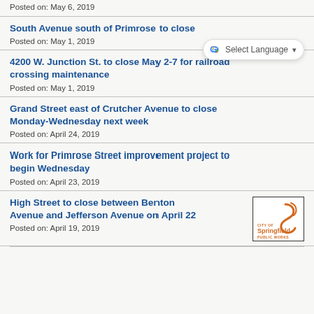Posted on: May 6, 2019
South Avenue south of Primrose to close
Posted on: May 1, 2019
4200 W. Junction St. to close May 2-7 for railroad crossing maintenance
Posted on: May 1, 2019
Grand Street east of Crutcher Avenue to close Monday-Wednesday next week
Posted on: April 24, 2019
Work for Primrose Street improvement project to begin Wednesday
Posted on: April 23, 2019
High Street to close between Benton Avenue and Jefferson Avenue on April 22
Posted on: April 19, 2019
[Figure (logo): City of Springfield Public Works logo — orange text with decorative swirl/S graphic inside a black border box]